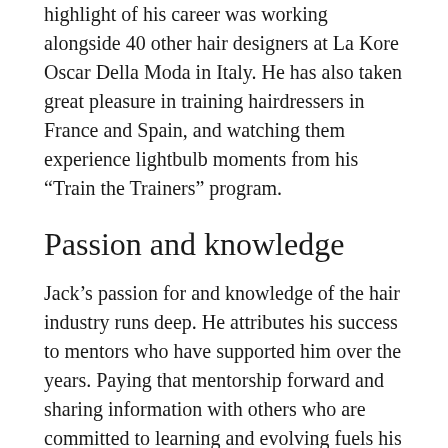highlight of his career was working alongside 40 other hair designers at La Kore Oscar Della Moda in Italy. He has also taken great pleasure in training hairdressers in France and Spain, and watching them experience lightbulb moments from his “Train the Trainers” program.
Passion and knowledge
Jack’s passion for and knowledge of the hair industry runs deep. He attributes his success to mentors who have supported him over the years. Paying that mentorship forward and sharing information with others who are committed to learning and evolving fuels his passion.
He knows dedication to doing good work and serving clients well only reaps success when these qualities are matched by a honed business sense.